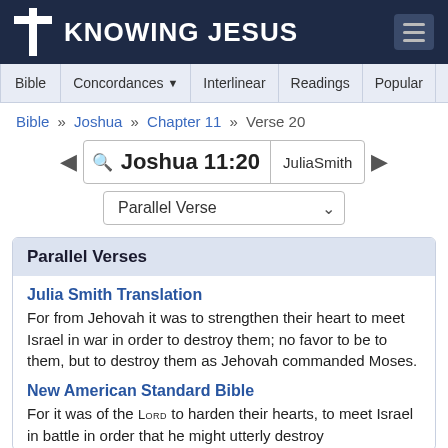KNOWING JESUS
Bible | Concordances | Interlinear | Readings | Popular | More
Bible » Joshua » Chapter 11 » Verse 20
Joshua 11:20  JuliaSmith
Parallel Verse
Parallel Verses
Julia Smith Translation
For from Jehovah it was to strengthen their heart to meet Israel in war in order to destroy them; no favor to be to them, but to destroy them as Jehovah commanded Moses.
New American Standard Bible
For it was of the Lord to harden their hearts, to meet Israel in battle in order that he might utterly destroy